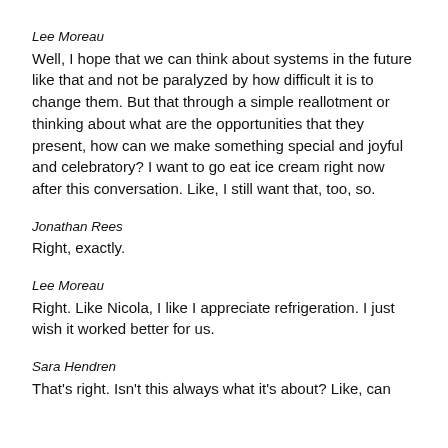Lee Moreau
Well, I hope that we can think about systems in the future like that and not be paralyzed by how difficult it is to change them. But that through a simple reallotment or thinking about what are the opportunities that they present, how can we make something special and joyful and celebratory? I want to go eat ice cream right now after this conversation. Like, I still want that, too, so.
Jonathan Rees
Right, exactly.
Lee Moreau
Right. Like Nicola, I like I appreciate refrigeration. I just wish it worked better for us.
Sara Hendren
That's right. Isn't this always what it's about? Like, can